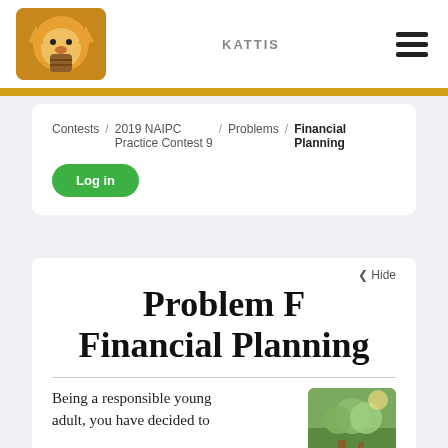KATTIS
Contests / 2019 NAIPC Practice Contest 9 / Problems / Financial Planning
Log in
Problem F
Financial Planning
Being a responsible young adult, you have decided to